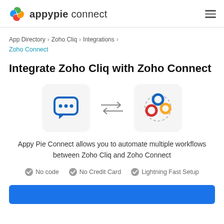appypie connect
App Directory > Zoho Cliq > Integrations > Zoho Connect
Integrate Zoho Cliq with Zoho Connect
[Figure (illustration): Two app icons side by side with bidirectional arrows between them. Left icon: Zoho Cliq (blue chat bubble with three dots). Right icon: Zoho Connect (colorful circles logo). Background boxes are light grey rounded rectangles.]
Appy Pie Connect allows you to automate multiple workflows between Zoho Cliq and Zoho Connect
No code   No Credit Card   Lightning Fast Setup